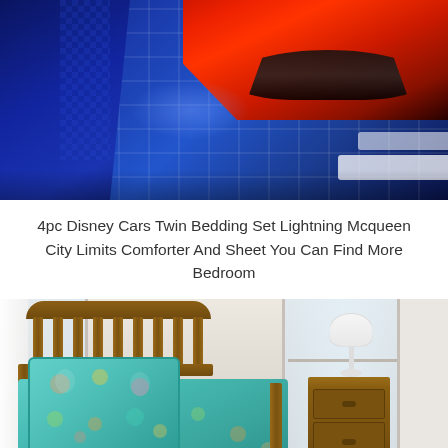[Figure (photo): Close-up photo of a blue quilted Disney Cars comforter with Lightning McQueen character in red visible in the upper right corner, blue patterned fabric on the left side.]
4pc Disney Cars Twin Bedding Set Lightning Mcqueen City Limits Comforter And Sheet You Can Find More Bedroom
[Figure (photo): Photo of a toddler bed with a wooden frame in a bright room, dressed in a teal/turquoise bedding set with colorful jungle/tropical animal patterns. A pillow with matching pattern is visible. A wooden nightstand with a white lamp sits to the right. Windows and a white door are visible in the background with light hardwood flooring.]